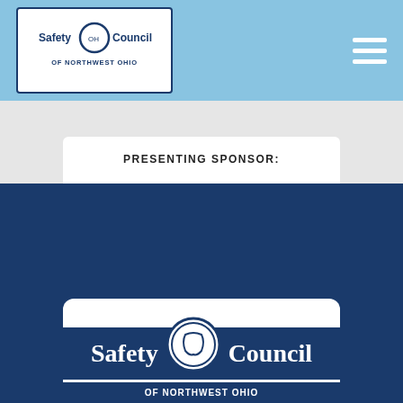[Figure (logo): Safety Council of Northwest Ohio logo - small version in header]
[Figure (logo): VXA Risk Services presenting sponsor logo in slideshow carousel]
[Figure (logo): Safety Council large logo in dark blue footer section]